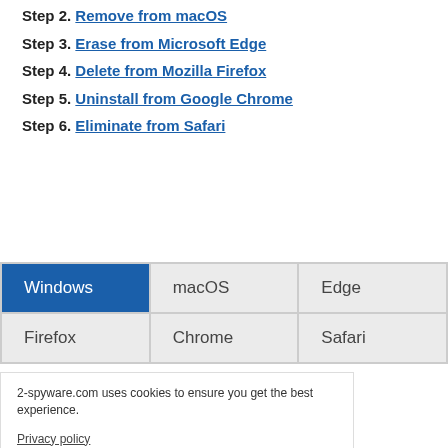Step 2. Remove from macOS
Step 3. Erase from Microsoft Edge
Step 4. Delete from Mozilla Firefox
Step 5. Uninstall from Google Chrome
Step 6. Eliminate from Safari
| Windows | macOS | Edge | Firefox | Chrome | Safari |
| --- | --- | --- | --- | --- | --- |
2-spyware.com uses cookies to ensure you get the best experience.
Privacy policy
Agree